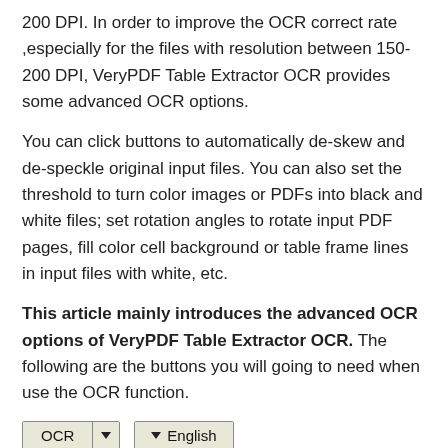200 DPI. In order to improve the OCR correct rate ,especially for the files with resolution between 150-200 DPI, VeryPDF Table Extractor OCR provides some advanced OCR options.
You can click buttons to automatically de-skew and de-speckle original input files. You can also set the threshold to turn color images or PDFs into black and white files; set rotation angles to rotate input PDF pages, fill color cell background or table frame lines in input files with white, etc.
This article mainly introduces the advanced OCR options of VeryPDF Table Extractor OCR. The following are the buttons you will going to need when use the OCR function.
[Figure (screenshot): UI screenshot showing two dropdown button controls: an 'OCR' button with a dropdown arrow, and an 'English' button with a dropdown arrow, both with a beige/gray background and dark border.]